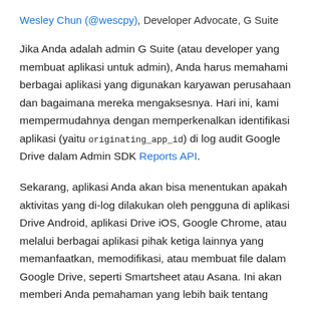Wesley Chun (@wescpy), Developer Advocate, G Suite
Jika Anda adalah admin G Suite (atau developer yang membuat aplikasi untuk admin), Anda harus memahami berbagai aplikasi yang digunakan karyawan perusahaan dan bagaimana mereka mengaksesnya. Hari ini, kami mempermudahnya dengan memperkenalkan identifikasi aplikasi (yaitu originating_app_id) di log audit Google Drive dalam Admin SDK Reports API.
Sekarang, aplikasi Anda akan bisa menentukan apakah aktivitas yang di-log dilakukan oleh pengguna di aplikasi Drive Android, aplikasi Drive iOS, Google Chrome, atau melalui berbagai aplikasi pihak ketiga lainnya yang memanfaatkan, memodifikasi, atau membuat file dalam Google Drive, seperti Smartsheet atau Asana. Ini akan memberi Anda pemahaman yang lebih baik tentang